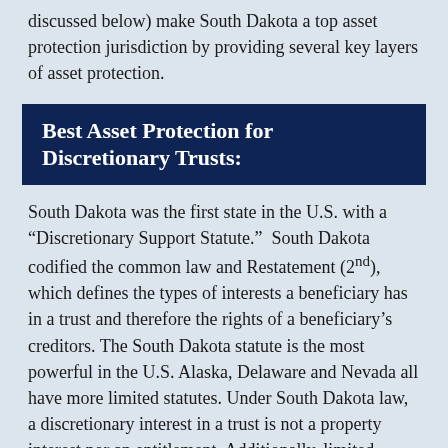discussed below) make South Dakota a top asset protection jurisdiction by providing several key layers of asset protection.
Best Asset Protection for Discretionary Trusts:
South Dakota was the first state in the U.S. with a “Discretionary Support Statute.”  South Dakota codified the common law and Restatement (2nd), which defines the types of interests a beneficiary has in a trust and therefore the rights of a beneficiary’s creditors. The South Dakota statute is the most powerful in the U.S. Alaska, Delaware and Nevada all have more limited statutes. Under South Dakota law, a discretionary interest in a trust is not a property interest nor an entitlement. Additionally, limited powers of appointment and remainder interests are also not property interests. This can become extremely